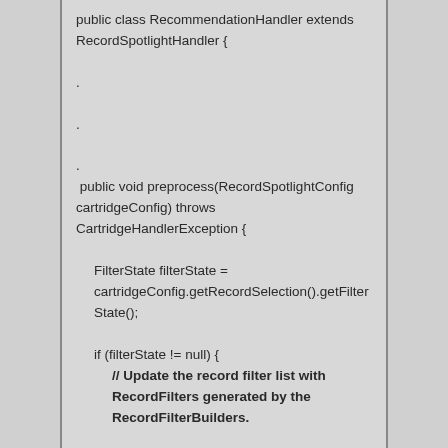[Figure (screenshot): A code snippet showing a Java class definition. The code reads: public class RecommendationHandler extends RecordSpotlightHandler { . . .  public void preprocess(RecordSpotlightConfig cartridgeConfig) throws CartridgeHandlerException {    FilterState filterState = cartridgeConfig.getRecordSelection().getFilterState();    if (filterState != null) {        // Update the record filter list with RecordFilters generated by the RecordFilterBuilders.]